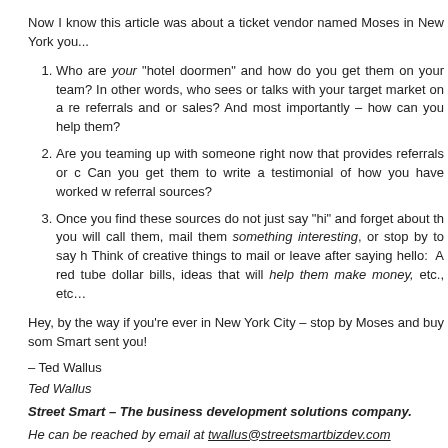Now I know this article was about a ticket vendor named Moses in New York you...
Who are your "hotel doormen" and how do you get them on your team? In other words, who sees or talks with your target market on a regular basis and could provide referrals and or sales? And most importantly – how can you help them?
Are you teaming up with someone right now that provides referrals or clients to you? Can you get them to write a testimonial of how you have worked with them as referral sources?
Once you find these sources do not just say "hi" and forget about them. Make sure you will call them, mail them something interesting, or stop by to say hi regularly. Think of creative things to mail or leave after saying hello: A red tube of dollar bills, ideas that will help them make money, etc., etc...
Hey, by the way if you're ever in New York City – stop by Moses and buy some tickets, tell them Street Smart sent you!
– Ted Wallus
Ted Wallus
Street Smart – The business development solutions company.
He can be reached by email at twallus@streetsmartbizdev.com